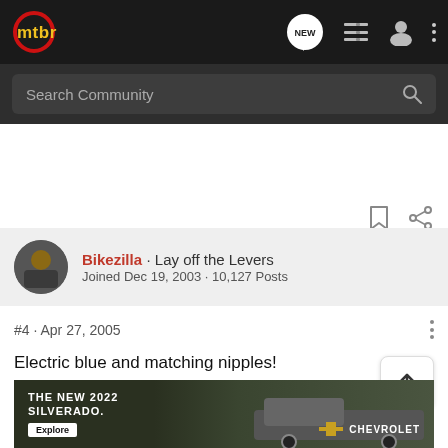[Figure (screenshot): mtbr community forum website header with logo, navigation icons (NEW chat bubble, list, user, more), search bar labeled 'Search Community']
Bikezilla · Lay off the Levers
Joined Dec 19, 2003 · 10,127 Posts
#4 · Apr 27, 2005
Electric blue and matching nipples!
Kewl!
[Figure (photo): Advertisement banner: The New 2022 Silverado. Explore. Chevrolet logo. Truck image.]